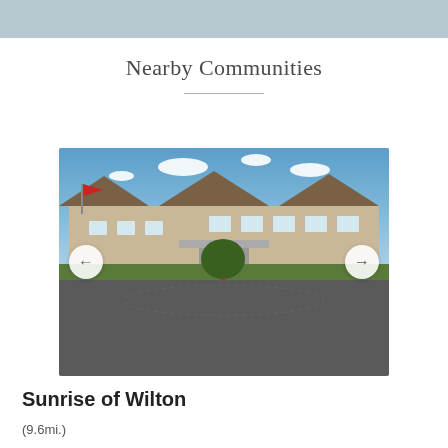Nearby Communities
[Figure (photo): Exterior photo of Sunrise of Wilton senior living community building with a large parking lot driveway in the foreground, landscaping with a tree island, and a blue sky with scattered clouds. Left and right navigation arrow buttons are overlaid on the image.]
Sunrise of Wilton
(9.6mi.)